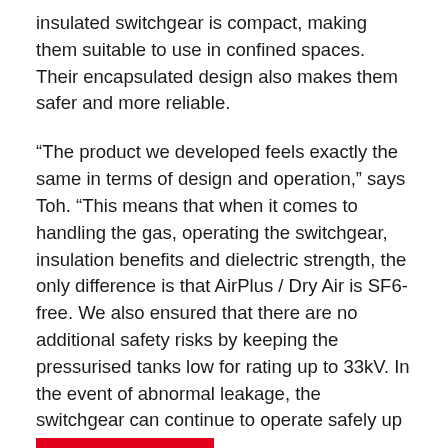insulated switchgear is compact, making them suitable to use in confined spaces. Their encapsulated design also makes them safer and more reliable.
“The product we developed feels exactly the same in terms of design and operation,” says Toh. “This means that when it comes to handling the gas, operating the switchgear, insulation benefits and dielectric strength, the only difference is that AirPlus / Dry Air is SF6-free. We also ensured that there are no additional safety risks by keeping the pressurised tanks low for rating up to 33kV. In the event of abnormal leakage, the switchgear can continue to operate safely up to the point of repair.”
The European Union is looking to phase out SF6 in the coming years, and its regulations are expected to